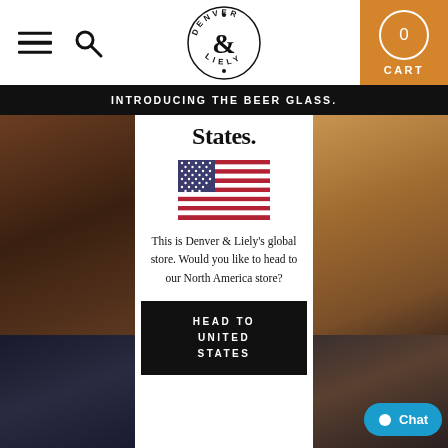Denver & Liely — Navigation bar with hamburger menu, search icon, logo, and cart (0)
INTRODUCING THE BEER GLASS.
States.
[Figure (illustration): US flag emoji / illustration]
This is Denver & Liely's global store. Would you like to head to our North America store?
HEAD TO UNITED STATES